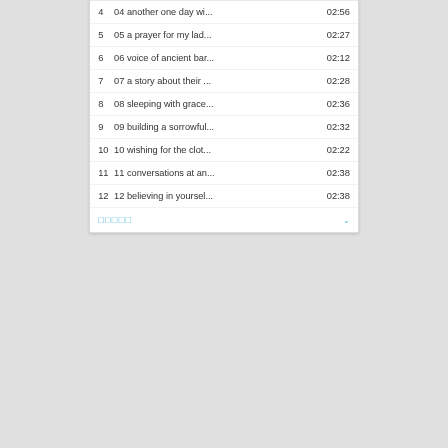4   04 another one day wi...   02:56
5   05 a prayer for my lad...   02:27
6   06 voice of ancient bar...   02:12
7   07 a story about their ...   02:28
8   08 sleeping with grace...   02:36
9   09 building a sorrowful...   02:32
10   10 wishing for the clot...   02:22
11   11 conversations at an...   02:38
12   12 believing in yoursel...   02:38
□□□□□